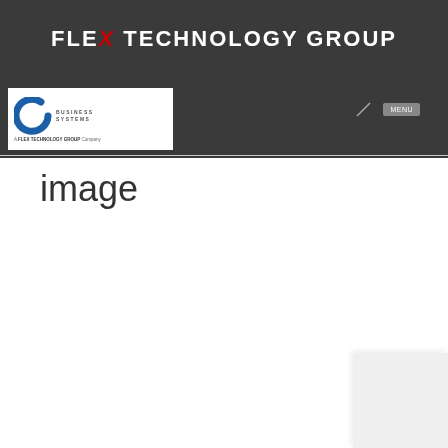FLEX TECHNOLOGY GROUP
[Figure (logo): Company logo: blue C shape with 'BUSINESS SYSTEMS' text and 'A FLEX TECHNOLOGY GROUP Company' tagline below]
image